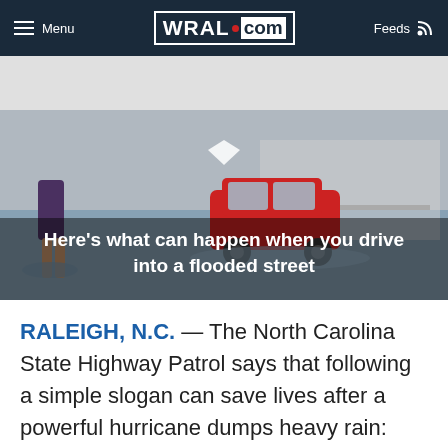Menu | WRAL.com | Feeds
[Figure (photo): A red SUV driving through a flooded street with a person standing in floodwater in the foreground. Text overlay reads: Here's what can happen when you drive into a flooded street]
RALEIGH, N.C. — The North Carolina State Highway Patrol says that following a simple slogan can save lives after a powerful hurricane dumps heavy rain: "Turn around; don't drown."